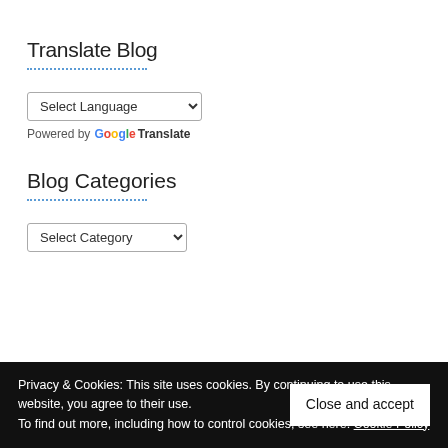Translate Blog
Powered by Google Translate
Blog Categories
Privacy & Cookies: This site uses cookies. By continuing to use this website, you agree to their use.
To find out more, including how to control cookies, see here: Cookie Policy
Close and accept